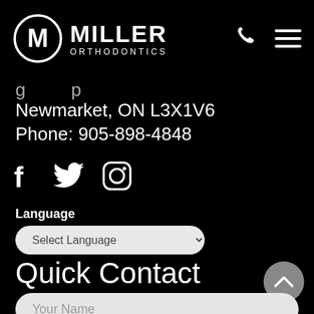MILLER ORTHODONTICS
Newmarket, ON L3X1V6
Phone: 905-898-4848
[Figure (illustration): Social media icons: Facebook, Twitter, Instagram]
Language
Select Language
Quick Contact
Your Name